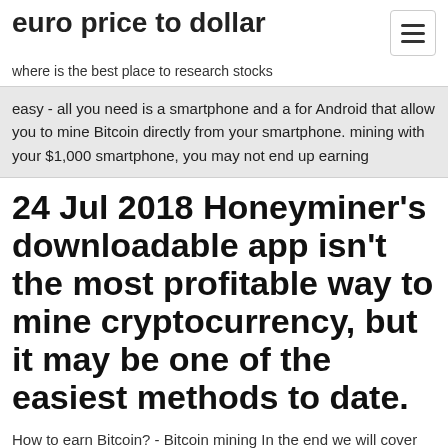euro price to dollar
where is the best place to research stocks
easy - all you need is a smartphone and a for Android that allow you to mine Bitcoin directly from your smartphone. mining with your $1,000 smartphone, you may not end up earning
24 Jul 2018 Honeyminer's downloadable app isn't the most profitable way to mine cryptocurrency, but it may be one of the easiest methods to date.
How to earn Bitcoin? - Bitcoin mining In the end we will cover earning bitcoins by mining. Bitcoin mining is not an easy way to earn bitcoins, but we do have a number of easier ones we will